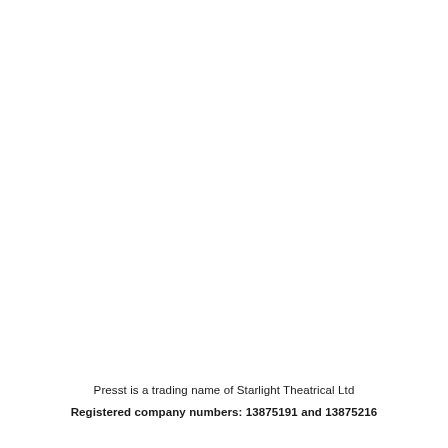Presst is a trading name of Starlight Theatrical Ltd

Registered company numbers: 13875191 and 13875216